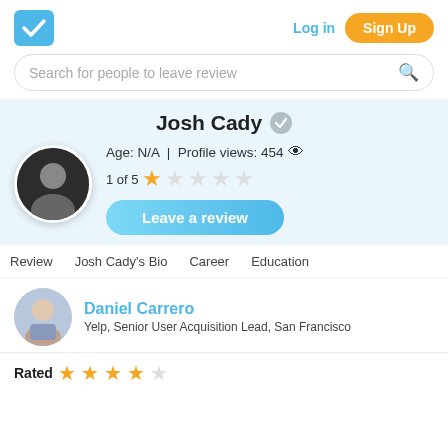[Figure (logo): Blue checkbox logo icon]
Log in
Sign Up
Search for people to leave review
Josh Cady
Age: N/A | Profile views: 454
1 of 5 ★☆☆☆☆
Leave a review
Review  Josh Cady's Bio  Career  Education
Daniel Carrero
Yelp, Senior User Acquisition Lead, San Francisco
Rated ★★★★☆